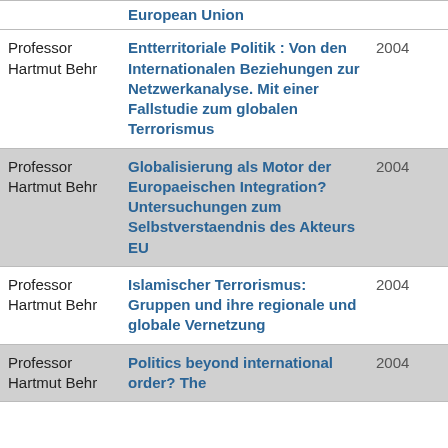| Author | Title | Year |
| --- | --- | --- |
| Professor Hartmut Behr | European Union |  |
| Professor Hartmut Behr | Entterritoriale Politik : Von den Internationalen Beziehungen zur Netzwerkanalyse. Mit einer Fallstudie zum globalen Terrorismus | 2004 |
| Professor Hartmut Behr | Globalisierung als Motor der Europaeischen Integration? Untersuchungen zum Selbstverstaendnis des Akteurs EU | 2004 |
| Professor Hartmut Behr | Islamischer Terrorismus: Gruppen und ihre regionale und globale Vernetzung | 2004 |
| Professor Hartmut Behr | Politics beyond international order? The | 2004 |